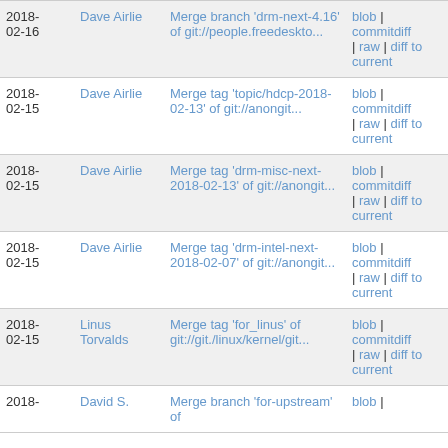| Date | Author | Commit message | Links |
| --- | --- | --- | --- |
| 2018-02-16 | Dave Airlie | Merge branch 'drm-next-4.16' of git://people.freedeskto... | blob | commitdiff | raw | diff to current |
| 2018-02-15 | Dave Airlie | Merge tag 'topic/hdcp-2018-02-13' of git://anongit... | blob | commitdiff | raw | diff to current |
| 2018-02-15 | Dave Airlie | Merge tag 'drm-misc-next-2018-02-13' of git://anongit... | blob | commitdiff | raw | diff to current |
| 2018-02-15 | Dave Airlie | Merge tag 'drm-intel-next-2018-02-07' of git://anongit... | blob | commitdiff | raw | diff to current |
| 2018-02-15 | Linus Torvalds | Merge tag 'for_linus' of git://git./linux/kernel/git... | blob | commitdiff | raw | diff to current |
| 2018- | David S. | Merge branch 'for-upstream' of | blob | |